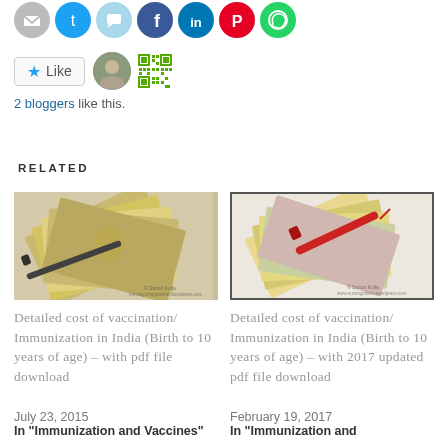[Figure (other): Social sharing icons row: email, Twitter, chat, Facebook, LinkedIn, Pinterest, WhatsApp circles]
[Figure (other): Like button with star icon, user avatar photo, and QR code avatar. Text: 2 bloggers like this.]
RELATED
[Figure (photo): Photo of Indian rupee banknotes fanned out with a syringe/pen on white background. Watermark: © Simon Kulinagat, nursing.shingnalures.wordpress.com]
Detailed cost of vaccination/Immunization in India (Birth to 10 years of age) – with pdf file download
July 23, 2015
In "Immunization and Vaccines"
[Figure (photo): Photo of Indian rupee banknotes fanned out with a red syringe on white background with border. Watermark: © Simon Kulinagat, www.nursingclinics.wordpress.com]
Detailed cost of vaccination/Immunization in India (Birth to 10 years of age) – with 2017 updated pdf file download
February 19, 2017
In "Immunization and